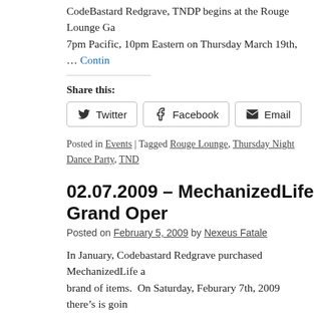CodeBastard Redgrave, TNDP begins at the Rouge Lounge Ga... 7pm Pacific, 10pm Eastern on Thursday March 19th, … Continue reading
Share this:
Twitter  Facebook  Email
Posted in Events | Tagged Rouge Lounge, Thursday Night Dance Party, TND...
02.07.2009 – MechanizedLife Grand Oper...
Posted on February 5, 2009 by Nexeus Fatale
In January, Codebastard Redgrave purchased MechanizedLife a... brand of items.  On Saturday, Feburary 7th, 2009 there's is goin... Sim starting at Noon PST/3pm EST, for the … Continue reading
Share this: